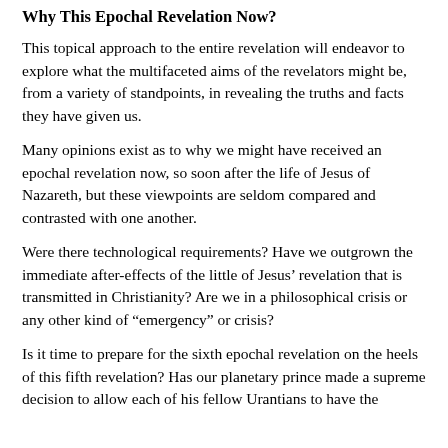Why This Epochal Revelation Now?
This topical approach to the entire revelation will endeavor to explore what the multifaceted aims of the revelators might be, from a variety of standpoints, in revealing the truths and facts they have given us.
Many opinions exist as to why we might have received an epochal revelation now, so soon after the life of Jesus of Nazareth, but these viewpoints are seldom compared and contrasted with one another.
Were there technological requirements?  Have we outgrown the immediate after-effects of the little of Jesus’ revelation that is transmitted in Christianity? Are we in a philosophical crisis or any other kind of “emergency” or crisis?
Is it time to prepare for the sixth epochal revelation on the heels of this fifth revelation?  Has our planetary prince made a supreme decision to allow each of his fellow Urantians to have the